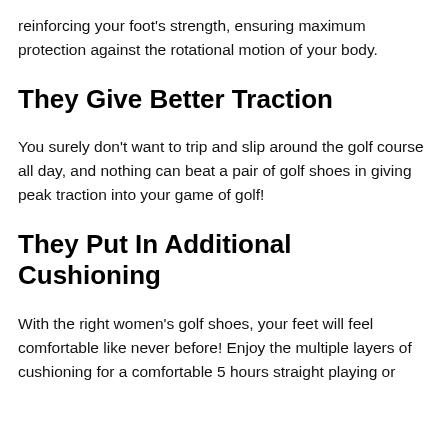reinforcing your foot's strength, ensuring maximum protection against the rotational motion of your body.
They Give Better Traction
You surely don't want to trip and slip around the golf course all day, and nothing can beat a pair of golf shoes in giving peak traction into your game of golf!
They Put In Additional Cushioning
With the right women's golf shoes, your feet will feel comfortable like never before! Enjoy the multiple layers of cushioning for a comfortable 5 hours straight playing or